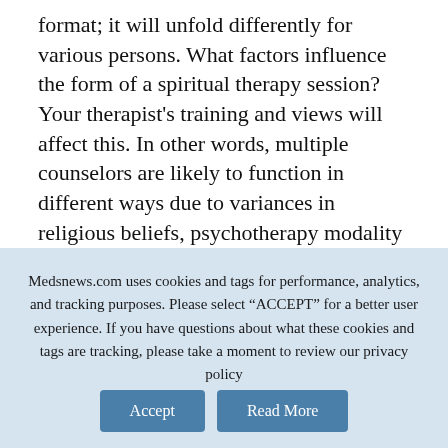format; it will unfold differently for various persons. What factors influence the form of a spiritual therapy session? Your therapist's training and views will affect this. In other words, multiple counselors are likely to function in different ways due to variances in religious beliefs, psychotherapy modality preferences, and personality types. The way treatment goes will also be determined by your unique demands for the process and your spirituality and religious
Medsnews.com uses cookies and tags for performance, analytics, and tracking purposes. Please select “ACCEPT” for a better user experience. If you have questions about what these cookies and tags are tracking, please take a moment to review our privacy policy